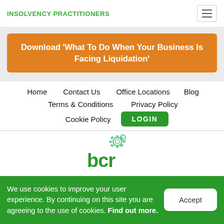INSOLVENCY PRACTITIONERS
Download 'What To Do When Your Business Is Facing Liquidation'
Home   Contact Us   Office Locations   Blog   Terms & Conditions   Privacy Policy   Cookie Policy   LOGIN
[Figure (logo): BCR logo with gear icon above letters 'bcr' in green]
We use cookies to improve your user experience. By continuing on this site you are agreeing to the use of cookies. Find out more.